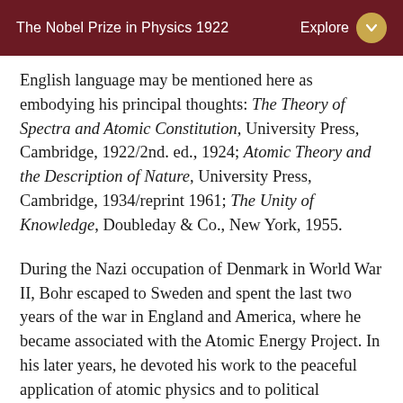The Nobel Prize in Physics 1922
English language may be mentioned here as embodying his principal thoughts: The Theory of Spectra and Atomic Constitution, University Press, Cambridge, 1922/2nd. ed., 1924; Atomic Theory and the Description of Nature, University Press, Cambridge, 1934/reprint 1961; The Unity of Knowledge, Doubleday & Co., New York, 1955.
During the Nazi occupation of Denmark in World War II, Bohr escaped to Sweden and spent the last two years of the war in England and America, where he became associated with the Atomic Energy Project. In his later years, he devoted his work to the peaceful application of atomic physics and to political problems arising from the development of atomic weapons. In particular, he advocated a